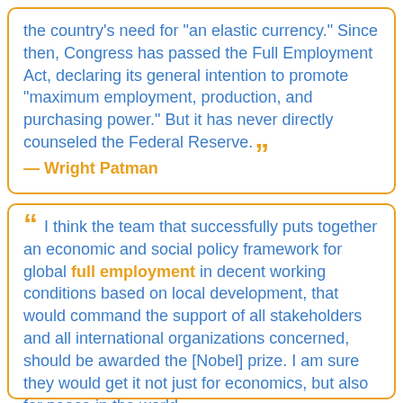the country's need for "an elastic currency." Since then, Congress has passed the Full Employment Act, declaring its general intention to promote "maximum employment, production, and purchasing power." But it has never directly counseled the Federal Reserve.
— Wright Patman
I think the team that successfully puts together an economic and social policy framework for global full employment in decent working conditions based on local development, that would command the support of all stakeholders and all international organizations concerned, should be awarded the [Nobel] prize. I am sure they would get it not just for economics, but also for peace in the world.
— Juan Somavia